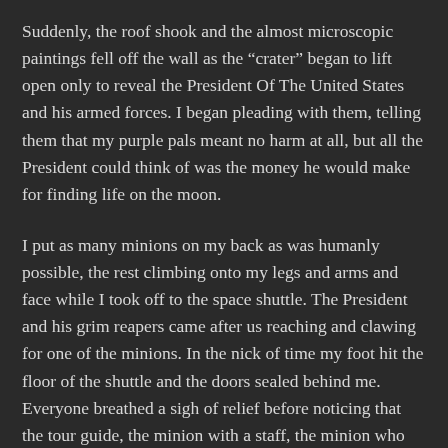Suddenly, the roof shook and the almost microscopic paintings fell off the wall as the “crater” began to lift open only to reveal the President Of The United States and his armed forces. I began pleading with them, telling them that my purple pals meant no harm at all, but all the President could think of was the money he would make for finding life on the moon.
I put as many minions on my back as was humanly possible, the rest climbing onto my legs and arms and face while I took off to the space shuttle. The President and his grim reapers came after us reaching and clawing for one of the minions. In the nick of time my foot hit the floor of the shuttle and the doors sealed behind me. Everyone breathed a sigh of relief before noticing that the tour guide, the minion with a staff, the minion who started it all was captured by the grim reapers of the President. I